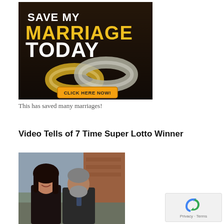[Figure (illustration): Advertisement banner: 'Save My Marriage Today' with two gold wedding rings and a yellow 'Click Here Now!' button on a dark background.]
This has saved many marriages!
Video Tells of 7 Time Super Lotto Winner
[Figure (photo): Photo of a smiling dark-haired woman and an older man with gray beard, standing together outdoors near a brick building.]